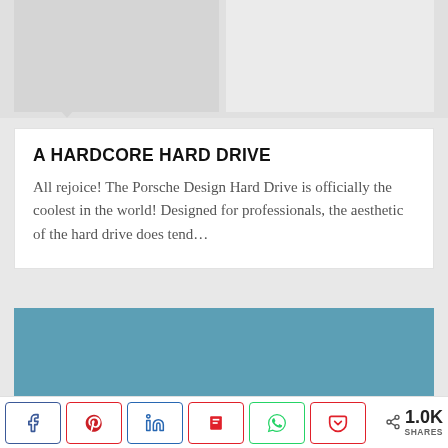[Figure (screenshot): Top portion of a webpage showing a card with article title and text, a blue image block, and a social share bar at the bottom]
A HARDCORE HARD DRIVE
All rejoice! The Porsche Design Hard Drive is officially the coolest in the world! Designed for professionals, the aesthetic of the hard drive does tend...
[Figure (photo): Blue/teal colored image block placeholder]
< 1.0K SHARES